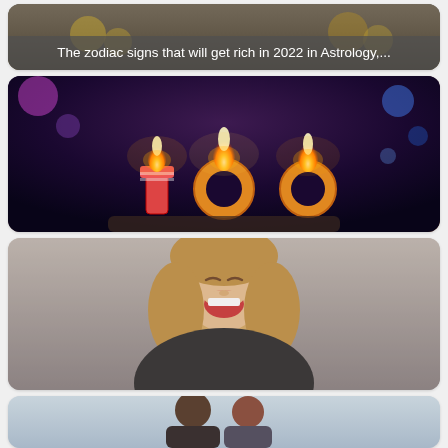[Figure (photo): Card with image showing money/wealth theme with text overlay about zodiac signs getting rich in 2022]
The zodiac signs that will get rich in 2022 in Astrology,...
[Figure (photo): Dark background with three candles shaped as number 100, lit flames visible]
5 zodiac signs that live the longest according to astrology.
[Figure (photo): Young blonde woman laughing with mouth open, indoor background]
Astrology: Here are the 5 most rebellious zodiac signs.
[Figure (photo): Couple sitting together, man and woman with dark hair, light blue background]